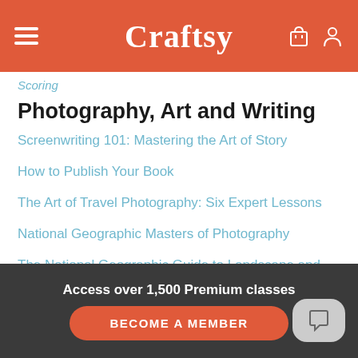Craftsy
Scoring
Photography, Art and Writing
Screenwriting 101: Mastering the Art of Story
How to Publish Your Book
The Art of Travel Photography: Six Expert Lessons
National Geographic Masters of Photography
The National Geographic Guide to Landscape and Wildlife Photography
Access over 1,500 Premium classes
BECOME A MEMBER